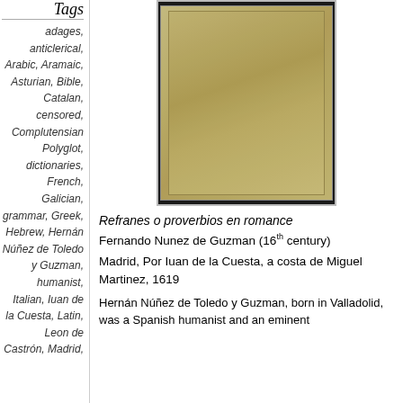Tags
adages,
anticlerical,
Arabic, Aramaic,
Asturian, Bible,
Catalan,
censored,
Complutensian Polyglot,
dictionaries,
French,
Galician,
grammar, Greek,
Hebrew, Hernán Núñez de Toledo y Guzman,
humanist,
Italian, Iuan de la Cuesta,
Latin,
Leon de Castrón, Madrid,
[Figure (photo): Photo of an old worn book cover with yellowed/aged parchment-like pages, appearing to be a 17th century Spanish manuscript or printed book.]
Refranes o proverbios en romance
Fernando Nunez de Guzman (16th century)
Madrid, Por Iuan de la Cuesta, a costa de Miguel Martinez, 1619
Hernán Núñez de Toledo y Guzman, born in Valladolid, was a Spanish humanist and an eminent